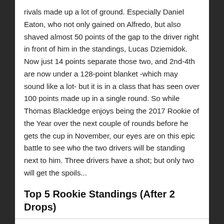rivals made up a lot of ground. Especially Daniel Eaton, who not only gained on Alfredo, but also shaved almost 50 points of the gap to the driver right in front of him in the standings, Lucas Dziemidok. Now just 14 points separate those two, and 2nd-4th are now under a 128-point blanket -which may sound like a lot- but it is in a class that has seen over 100 points made up in a single round. So while Thomas Blackledge enjoys being the 2017 Rookie of the Year over the next couple of rounds before he gets the cup in November, our eyes are on this epic battle to see who the two drivers will be standing next to him. Three drivers have a shot; but only two will get the spoils...
Top 5 Rookie Standings (After 2 Drops)
|  | Name | Points |
| --- | --- | --- |
| 1) | Thomas Blackledge | 1880 |
| 2) | Alfredo Anguiano | 1066 |